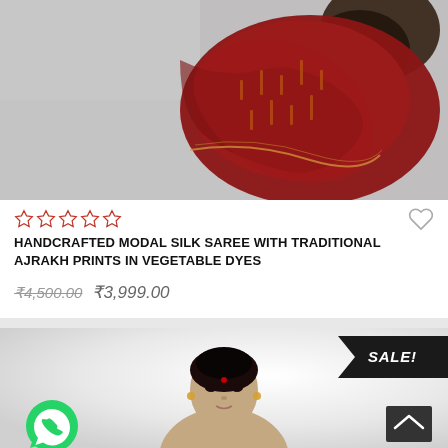[Figure (photo): Photo of a red/maroon handcrafted modal silk saree with Ajrakh prints, laid out on a grey textured surface]
☆☆☆☆☆ (star rating, 5 empty stars) and heart/wishlist icon
HANDCRAFTED MODAL SILK SAREE WITH TRADITIONAL AJRAKH PRINTS IN VEGETABLE DYES
₹4,500.00  ₹3,999.00
[Figure (photo): Bottom portion of a second product card showing a woman wearing a saree, with a SALE! ribbon, WhatsApp chat button, and back-to-top button]